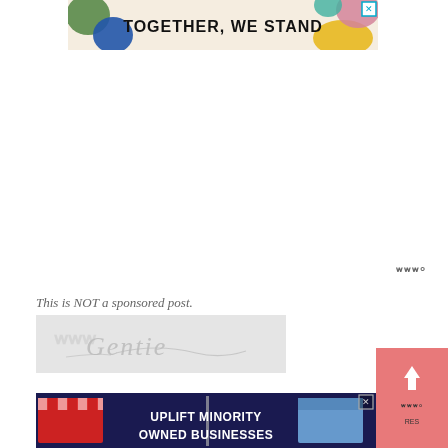[Figure (illustration): Advertisement banner with colorful decorative shapes (green, blue, yellow, pink blob shapes) and bold text reading 'TOGETHER, WE STAND' on a cream background, with a close button (X) in top right corner.]
[Figure (logo): Small watermark logo in gray, resembling 'www' with a degree symbol, positioned in the right side of the page]
This is NOT a sponsored post.
[Figure (illustration): A cursive signature on a light gray background, appearing to read 'Gentie' with decorative flourishes]
[Figure (illustration): Advertisement banner with dark navy background, market stall / shop illustrations on left and right sides, text reading 'UPLIFT MINORITY OWNED BUSINESSES', with a close button (X)]